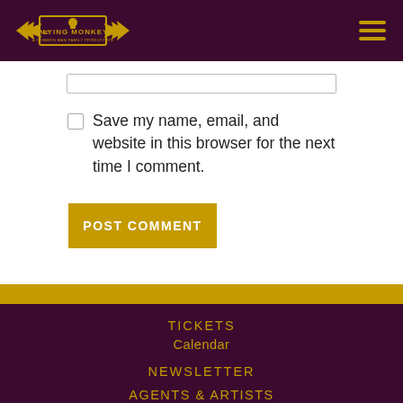[Figure (logo): The Flying Monkey logo — a golden winged emblem with the text 'THE FLYING MONKEY' and 'A COMMON MAN FAMILY PRODUCTION' on a dark purple background]
Save my name, email, and website in this browser for the next time I comment.
POST COMMENT
TICKETS
Calendar
NEWSLETTER
AGENTS & ARTISTS